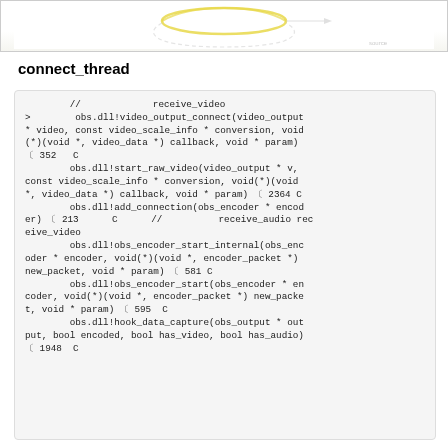[Figure (illustration): Partial diagram showing a node or connection graphic with yellow/gold curved arrow shapes on white background — cropped top portion of a flow diagram.]
connect_thread
//　　　　　　　　receive_video
>	    obs.dll!video_output_connect(video_output * video, const video_scale_info * conversion, void (*)(void *, video_data *) callback, void * param) 〕 352   C
	    obs.dll!start_raw_video(video_output * v, const video_scale_info * conversion, void(*)(void *, video_data *) callback, void * param) 〕 2364 C
	    obs.dll!add_connection(obs_encoder * encoder) 〕 213      C      // 　　　　 receive_audio receive_video
	    obs.dll!obs_encoder_start_internal(obs_encoder * encoder, void(*)(void *, encoder_packet *) new_packet, void * param) 〕 581 C
	    obs.dll!obs_encoder_start(obs_encoder * encoder, void(*)(void *, encoder_packet *) new_packet, void * param) 〕 595  C
	    obs.dll!hook_data_capture(obs_output * output, bool encoded, bool has_video, bool has_audio) 〕 1948  C